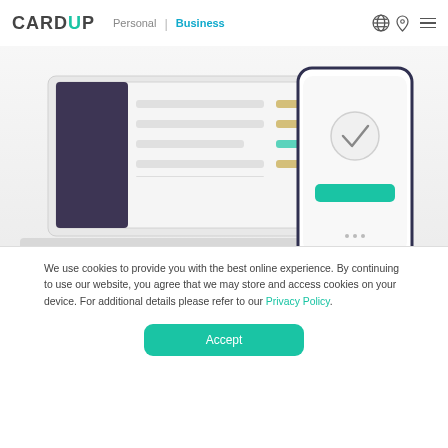CARDUP | Personal | Business
[Figure (screenshot): Screenshot of CardUp web dashboard and mobile app UI showing payment scheduling interface with a laptop and smartphone mockup]
We use cookies to provide you with the best online experience. By continuing to use our website, you agree that we may store and access cookies on your device. For additional details please refer to our Privacy Policy.
Accept